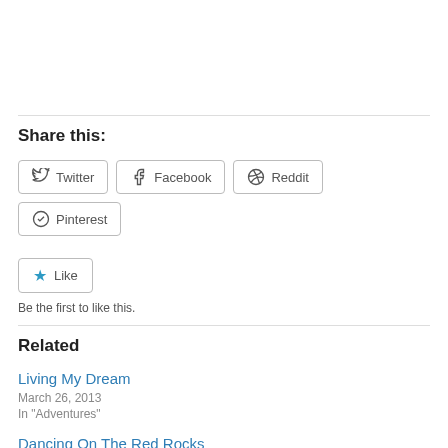Share this:
Twitter  Facebook  Reddit  Pinterest
Like
Be the first to like this.
Related
Living My Dream
March 26, 2013
In "Adventures"
Dancing On The Red Rocks